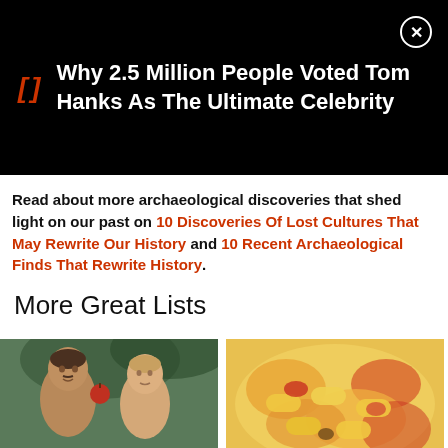[Figure (screenshot): Black advertisement banner showing bookmark icon in red italic brackets, white bold text 'Why 2.5 Million People Voted Tom Hanks As The Ultimate Celebrity' and a close (X) button]
Read about more archaeological discoveries that shed light on our past on 10 Discoveries Of Lost Cultures That May Rewrite Our History and 10 Recent Archaeological Finds That Rewrite History.
More Great Lists
[Figure (photo): Classical painting of Adam and Eve (two figures, one male and one female, appearing in a garden setting)]
[Figure (photo): Photo of colorful food, appears to be pasta or similar dish with vegetables and sauce]